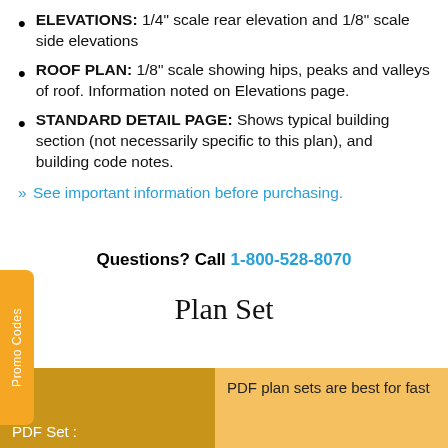ELEVATIONS: 1/4" scale rear elevation and 1/8" scale side elevations
ROOF PLAN: 1/8" scale showing hips, peaks and valleys of roof. Information noted on Elevations page.
STANDARD DETAIL PAGE: Shows typical building section (not necessarily specific to this plan), and building code notes.
» See important information before purchasing.
Questions? Call 1-800-528-8070
Plan Set
|  |  |
| --- | --- |
| PDF Set : | PDF plan sets are best for fast |